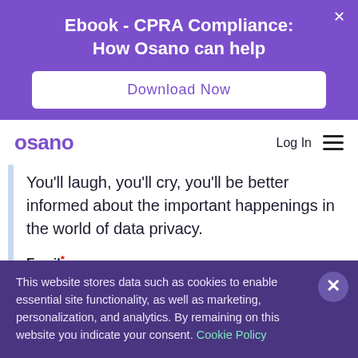Ebook - CPRA Compliance: How Osano can help
[Figure (screenshot): Download Now button - white rounded rectangle with purple text on purple banner background]
[Figure (logo): Osano logo in purple text]
You'll laugh, you'll cry, you'll be better informed about the important happenings in the world of data privacy.
Email*
This website stores data such as cookies to enable essential site functionality, as well as marketing, personalization, and analytics. By remaining on this website you indicate your consent. Cookie Policy